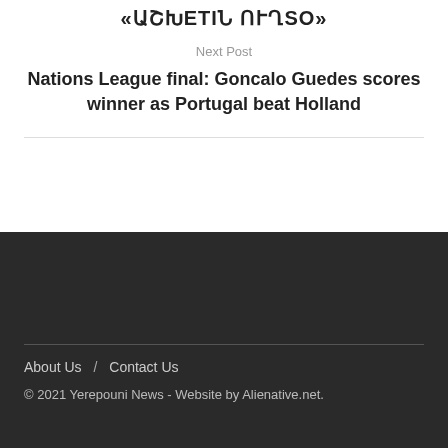«ԱՇԽԵTIՆ ՈՒՂSO»
Next Post
Nations League final: Goncalo Guedes scores winner as Portugal beat Holland
About Us / Contact Us
© 2021 Yerepouni News - Website by Alienative.net.